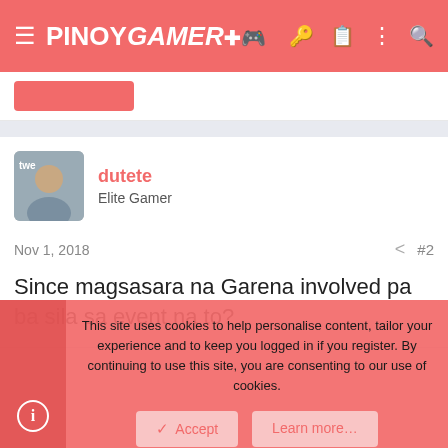PINOYGAMER
dutete
Elite Gamer
Nov 1, 2018  #2
Since magsasara na Garena involved pa ba sila sa event na to?
This site uses cookies to help personalise content, tailor your experience and to keep you logged in if you register. By continuing to use this site, you are consenting to our use of cookies.